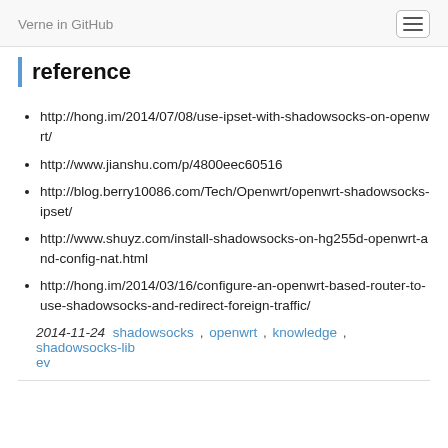Verne in GitHub
reference
http://hong.im/2014/07/08/use-ipset-with-shadowsocks-on-openwrt/
http://www.jianshu.com/p/4800eec60516
http://blog.berry10086.com/Tech/Openwrt/openwrt-shadowsocks-ipset/
http://www.shuyz.com/install-shadowsocks-on-hg255d-openwrt-and-config-nat.html
http://hong.im/2014/03/16/configure-an-openwrt-based-router-to-use-shadowsocks-and-redirect-foreign-traffic/
2014-11-24  shadowsocks , openwrt , knowledge , shadowsocks-libev